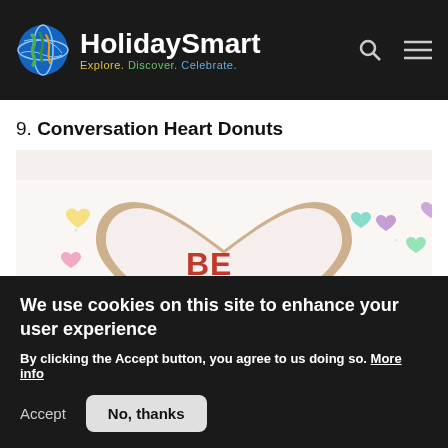HolidaySmart — Explore. Discover. Celebrate.
9. Conversation Heart Donuts
[Figure (photo): A heart-shaped donut with white icing and red text reading 'BE MINE', surrounded by small colorful conversation heart candies on a white surface.]
We use cookies on this site to enhance your user experience
By clicking the Accept button, you agree to us doing so. More info
Accept | No, thanks